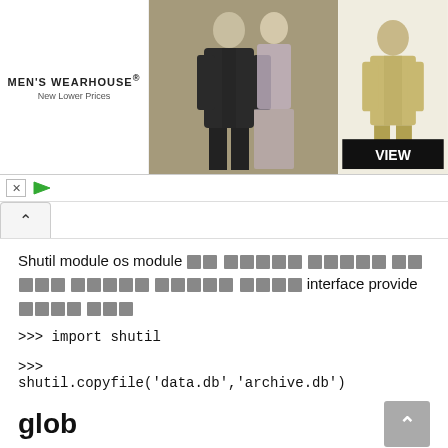[Figure (screenshot): Men's Wearhouse advertisement banner showing a couple in formal wear and a man in a tan suit with a VIEW button]
Shutil module os module 에 비해서는 상위수준 인터페이스 파일복사 이동 삭제 압축 등의 기능을 제공 interface provide 하는 모듈
>>> import shutil
>>>
shutil.copyfile('data.db','archive.db')
glob
이 module directory searches 에서 패턴으로 files